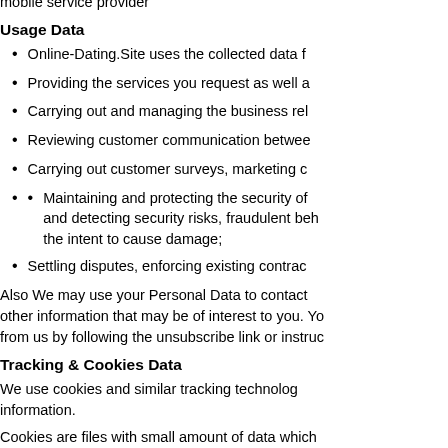mobile service provider
Usage Data
Online-Dating.Site uses the collected data f
Providing the services you request as well a
Carrying out and managing the business rel
Reviewing customer communication betwe
Carrying out customer surveys, marketing c
Maintaining and protecting the security of and detecting security risks, fraudulent beh the intent to cause damage;
Settling disputes, enforcing existing contrac
Also We may use your Personal Data to contact other information that may be of interest to you. Yo from us by following the unsubscribe link or instruc
Tracking & Cookies Data
We use cookies and similar tracking technolog information.
Cookies are files with small amount of data which to your browser from a website and stored on you and scripts to collect and track information and to i